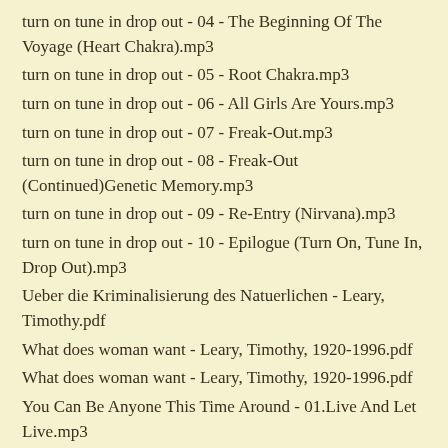turn on tune in drop out - 04 - The Beginning Of The Voyage (Heart Chakra).mp3
turn on tune in drop out - 05 - Root Chakra.mp3
turn on tune in drop out - 06 - All Girls Are Yours.mp3
turn on tune in drop out - 07 - Freak-Out.mp3
turn on tune in drop out - 08 - Freak-Out (Continued)Genetic Memory.mp3
turn on tune in drop out - 09 - Re-Entry (Nirvana).mp3
turn on tune in drop out - 10 - Epilogue (Turn On, Tune In, Drop Out).mp3
Ueber die Kriminalisierung des Natuerlichen - Leary, Timothy.pdf
What does woman want  - Leary, Timothy, 1920-1996.pdf
What does woman want - Leary, Timothy, 1920-1996.pdf
You Can Be Anyone This Time Around - 01.Live And Let Live.mp3